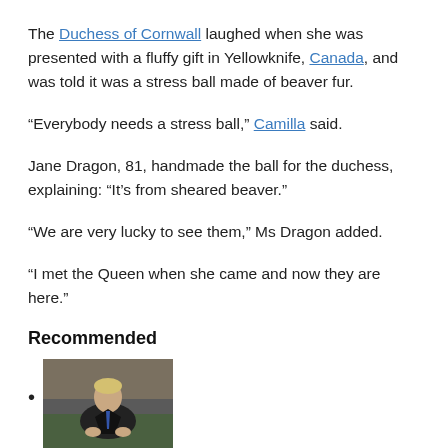The Duchess of Cornwall laughed when she was presented with a fluffy gift in Yellowknife, Canada, and was told it was a stress ball made of beaver fur.
“Everybody needs a stress ball,” Camilla said.
Jane Dragon, 81, handmade the ball for the duchess, explaining: “It’s from sheared beaver.”
“We are very lucky to see them,” Ms Dragon added.
“I met the Queen when she came and now they are here.”
Recommended
[Figure (photo): Thumbnail photo of a man in a dark suit seated at a table, appearing to be Boris Johnson]